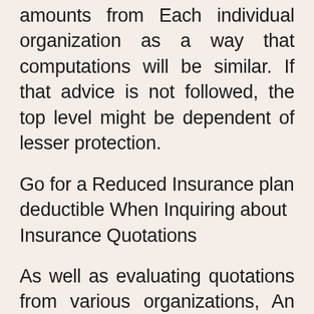amounts from Each individual organization as a way that computations will be similar. If that advice is not followed, the top level might be dependent of lesser protection.
Go for a Reduced Insurance plan deductible When Inquiring about Insurance Quotations
As well as evaluating quotations from various organizations, An additional smart strategy for managing month-to-month insurance policies payments is to settle on decrease deductibles. Reduced deductibles will mechanically lessen the value that people are necessary to shell out Each individual and every month. Nevertheless, prior to these amounts are